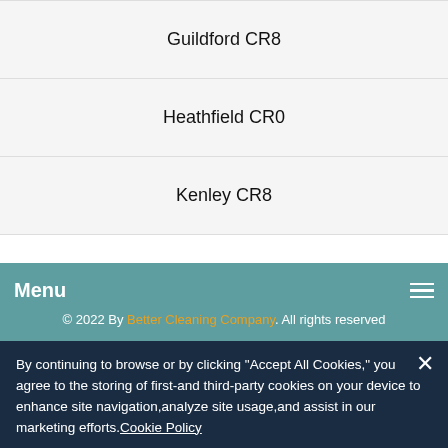Guildford CR8
Heathfield CR0
Kenley CR8
Menu  © 2022 By Better Cleaning Company. All rights reserved
By continuing to browse or by clicking "Accept All Cookies," you agree to the storing of first-and third-party cookies on your device to enhance site navigation,analyze site usage,and assist in our marketing efforts. Cookie Policy
> Cookie Settings  Accept All Cookies